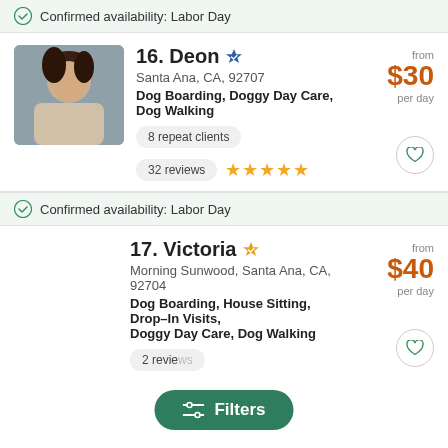Confirmed availability: Labor Day
16. Deon · Santa Ana, CA, 92707 · Dog Boarding, Doggy Day Care, Dog Walking · 8 repeat clients · 32 reviews · from $30 per day
Confirmed availability: Labor Day
17. Victoria · Morning Sunwood, Santa Ana, CA, 92704 · Dog Boarding, House Sitting, Drop-In Visits, Doggy Day Care, Dog Walking · 2 reviews · from $40 per day